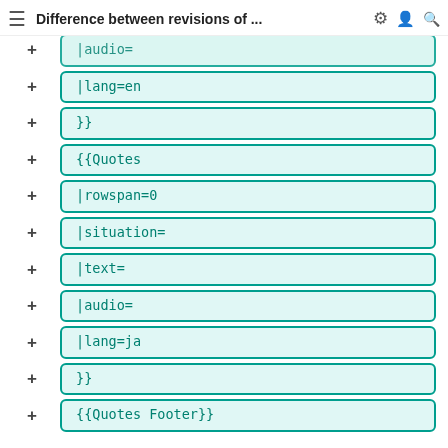≡ Difference between revisions of ... ⚙ 👤 🔍
+ |audio=
+ |lang=en
+ }}
+ {{Quotes
+ |rowspan=0
+ |situation=
+ |text=
+ |audio=
+ |lang=ja
+ }}
+ {{Quotes Footer}}